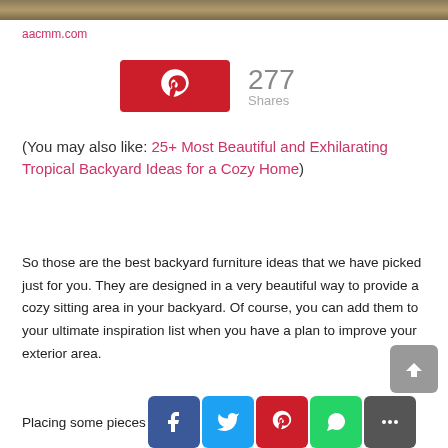[Figure (photo): Top strip of a backyard/landscape photo]
aacmm.com
[Figure (infographic): Pinterest share button with 277 Shares count]
(You may also like: 25+ Most Beautiful and Exhilarating Tropical Backyard Ideas for a Cozy Home)
So those are the best backyard furniture ideas that we have picked just for you. They are designed in a very beautiful way to provide a cozy sitting area in your backyard. Of course, you can add them to your ultimate inspiration list when you have a plan to improve your exterior area.
Placing some pieces of furniture in your backyard is absolutely a good idea that you can keep